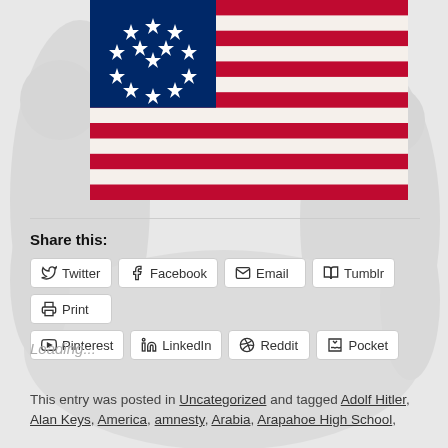[Figure (photo): Betsy Ross style American flag (13 stars in a circle on blue canton, red and white stripes) centered in upper portion of page, with a faded crowd/figure background behind the whole page]
Share this:
Twitter  Facebook  Email  Tumblr  Print  Pinterest  LinkedIn  Reddit  Pocket
Loading...
This entry was posted in Uncategorized and tagged Adolf Hitler, Alan Keys, America, amnesty, Arabia, Arapahoe High School,